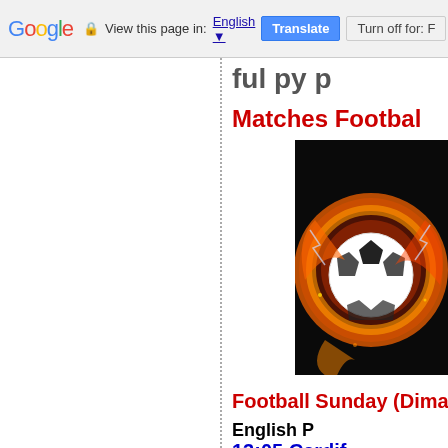Google  View this page in: English [dropdown]  Translate  Turn off for: F
ful py p
Matches Footbal
[Figure (photo): A flaming soccer/football ball with fire and lightning effects against a dark background]
Football Sunday (Dima
English P
13:05  Cardif